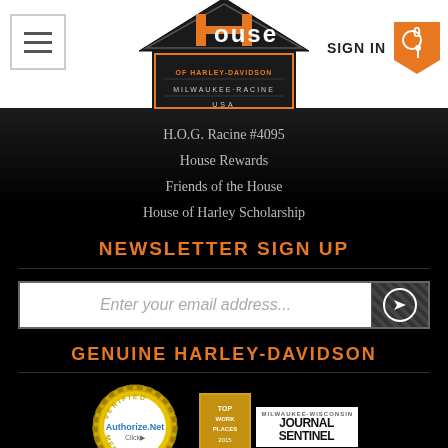[Figure (screenshot): House of Harley-Davidson Milwaukee-Racine USA logo centered in header]
H.O.G. Racine #4095
House Rewards
Friends of the House
House of Harley Scholarship
NEWSLETTER SIGN UP
Enter your email address...
GENUINE HARLEY-DAVIDSON
[Figure (logo): Authorize.Net Verified Merchant seal and Top Work Places Journal Sentinel badge]